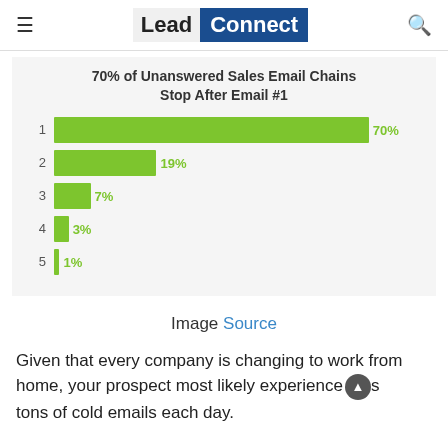Lead Connect
[Figure (bar-chart): 70% of Unanswered Sales Email Chains Stop After Email #1]
Image Source
Given that every company is changing to work from home, your prospect most likely experiences tons of cold emails each day.